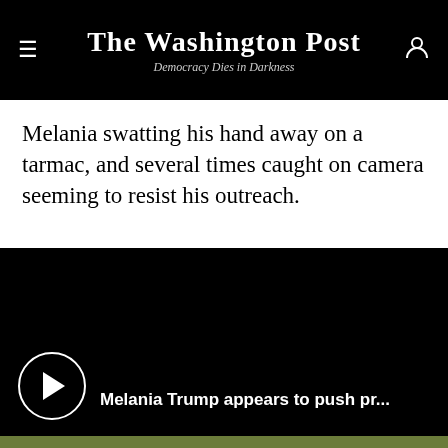The Washington Post — Democracy Dies in Darkness
Melania swatting his hand away on a tarmac, and several times caught on camera seeming to resist his outreach.
[Figure (screenshot): Black video player area with play button circle and caption 'Melania Trump appears to push pr...']
[Figure (other): Advertisement: IF YOU CAN PLAN A WEDDING YOU CAN PLAN FOR A NATURAL DISASTER — GET STARTED — Ready FEMA ad]